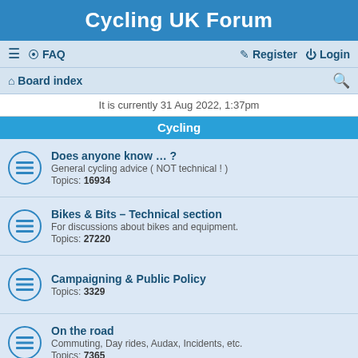Cycling UK Forum
≡  FAQ    Register  Login
Board index  🔍
It is currently 31 Aug 2022, 1:37pm
Cycling
Does anyone know … ?
General cycling advice ( NOT technical ! )
Topics: 16934
Bikes & Bits – Technical section
For discussions about bikes and equipment.
Topics: 27220
Campaigning & Public Policy
Topics: 3329
On the road
Commuting, Day rides, Audax, Incidents, etc.
Topics: 7365
Lands End to John O'Groats
Specific board for this popular undertaking.
Topics: 2493